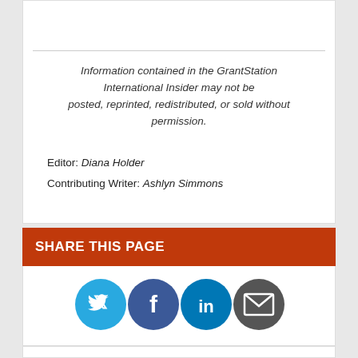Information contained in the GrantStation International Insider may not be posted, reprinted, redistributed, or sold without permission.
Editor: Diana Holder
Contributing Writer: Ashlyn Simmons
SHARE THIS PAGE
[Figure (infographic): Four social sharing buttons: Twitter (blue bird icon), Facebook (blue f icon), LinkedIn (blue in icon), Email (dark envelope icon)]